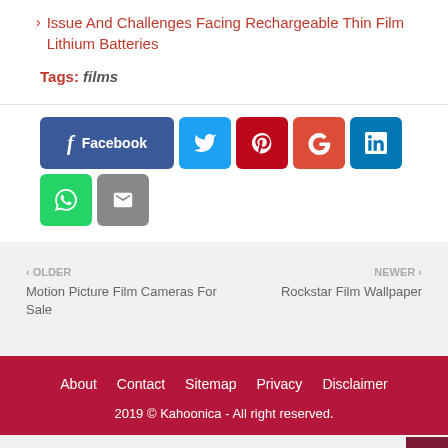Issue And Challenges Facing Rechargeable Thin Film Lithium Batteries
Tags: films
[Figure (infographic): Social share buttons: Facebook, Twitter, Pinterest, Google+, LinkedIn, WhatsApp, Email]
OLDER
Motion Picture Film Cameras For Sale
NEWER
Rockstar Film Wallpaper
About  Contact  Sitemap  Privacy  Disclaimer
2019 © Kahoonica - All right reserved.